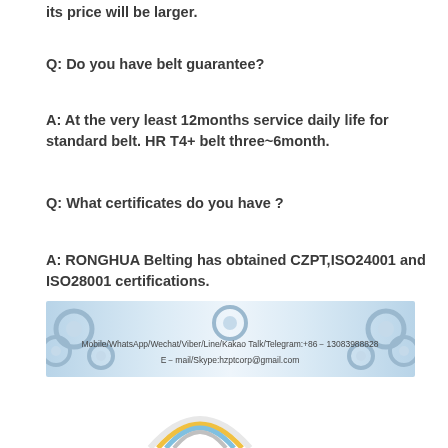its price will be larger.
Q: Do you have belt guarantee?
A: At the very least 12months service daily life for standard belt. HR T4+ belt three~6month.
Q: What certificates do you have ?
A: RONGHUA Belting has obtained CZPT,ISO24001 and ISO28001 certifications.
[Figure (infographic): Banner image with gear/cog background in blue and white tones. Text reads: Mobile/WhatsApp/Wechat/Viber/Line/Kakao Talk/Telegram:+86-13083988828 and E-mail/Skype:hzptcorp@gmail.com]
[Figure (logo): Partial logo visible at bottom of page, circular rainbow arc design]